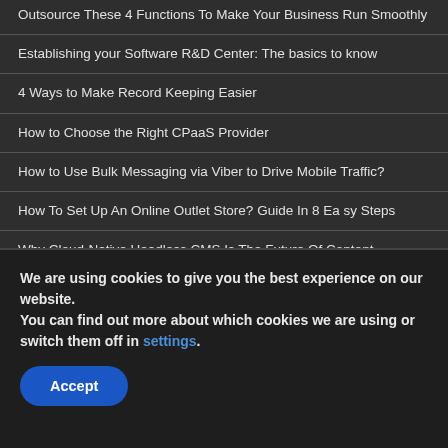Outsource These 4 Functions To Make Your Business Run Smoothly
Establishing your Software R&D Center: The basics to know
4 Ways to Make Record Keeping Easier
How to Choose the Right CPaaS Provider
How to Use Bulk Messaging via Viber to Drive Mobile Traffic?
How To Set Up An Online Outlet Store? Guide In 8 Ea sy Steps
Why Cloud-Native Headless CMS Is The Future Of Content Management
Does A Small Business Need A CPA To Grow?
5 Things To Know Before Moving Your Business to the Cloud
A Marketer's Guide to Choosing the Best IVR Software
Popular Business Ideas for 2022
We are using cookies to give you the best experience on our website.
You can find out more about which cookies we are using or switch them off in settings.
Accept